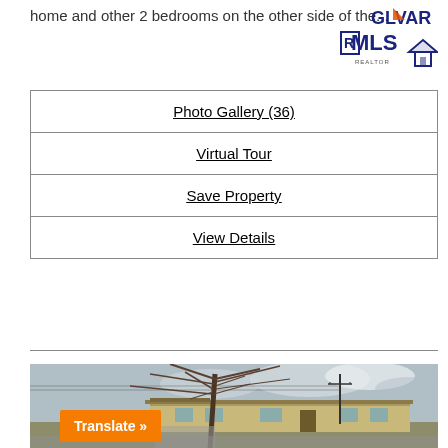home and other 2 bedrooms on the other side of the...
[Figure (logo): GLVAR MLS Realtor logo with house icon]
| Photo Gallery (36) |
| Virtual Tour |
| Save Property |
| View Details |
[Figure (photo): Exterior photo of a single-story residential home with a large leafless tree in front, cloudy sky background, taken in winter or late fall. An orange Translate button overlay appears in the bottom left corner.]